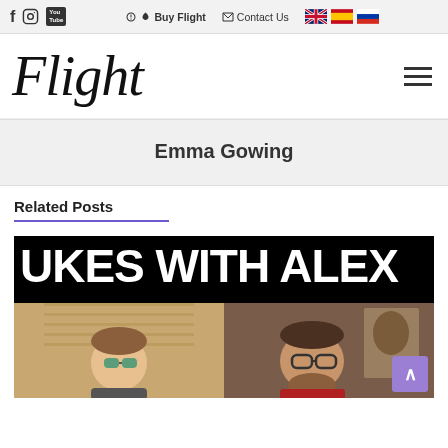Flight — Buy Flight | Contact Us | [EN] [ES] [RU]
[Figure (logo): Flight logo in italic script font]
Emma Gowing
Related Posts
[Figure (screenshot): Video thumbnail showing 'UKES WITH ALEX' in large white text on black background, with two people below — a woman with sunglasses on left and a man with glasses on right]